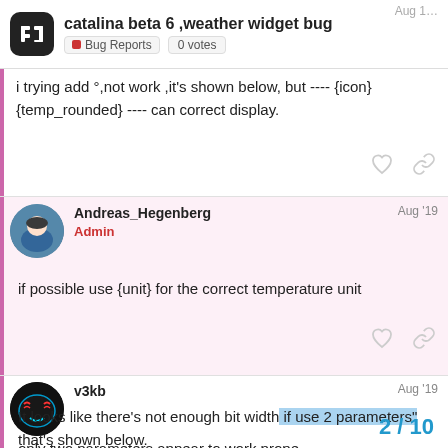catalina beta 6 ,weather widget bug | Bug Reports | 0 votes
i trying add °,not work ,it's shown below, but ---- {icon} {temp_rounded} ---- can correct display.
Andreas_Hegenberg Admin Aug '19
if possible use {unit} for the correct temperature unit
v3kb Aug '19
It looks like there's not enough bit width if use 2 parameters that's shown below.
only two parameters appear to work prope